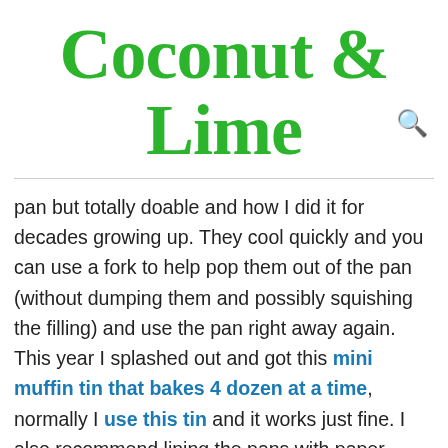Coconut & Lime
pan but totally doable and how I did it for decades growing up. They cool quickly and you can use a fork to help pop them out of the pan (without dumping them and possibly squishing the filling) and use the pan right away again. This year I splashed out and got this mini muffin tin that bakes 4 dozen at a time, normally I use this tin and it works just fine. I also recommend lining the pans with paper liners as the cake is very moist and will stick to the pan. Please use mini chips!